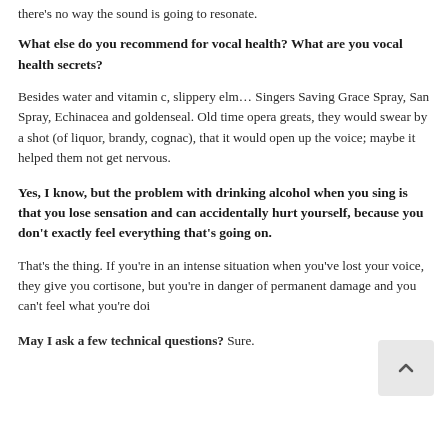there's no way the sound is going to resonate.
What else do you recommend for vocal health? What are you vocal health secrets?
Besides water and vitamin c, slippery elm… Singers Saving Grace Spray, San Spray, Echinacea and goldenseal. Old time opera greats, they would swear by a shot (of liquor, brandy, cognac), that it would open up the voice; maybe it helped them not get nervous.
Yes, I know, but the problem with drinking alcohol when you sing is that you lose sensation and can accidentally hurt yourself, because you don't exactly feel everything that's going on.
That's the thing. If you're in an intense situation when you've lost your voice, they give you cortisone, but you're in danger of permanent damage and you can't feel what you're doi
May I ask a few technical questions? Sure.